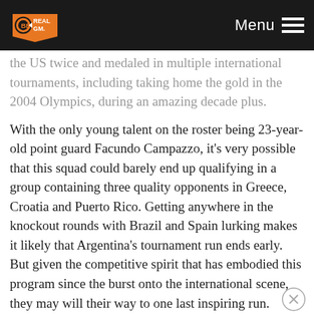RealGM — Menu
the US twice and medaled in multiple international tournaments, including taking home the gold in the 2004 Olympics, during an amazing decade plus.
With the only young talent on the roster being 23-year-old point guard Facundo Campazzo, it's very possible that this squad could barely end up qualifying in a group containing three quality opponents in Greece, Croatia and Puerto Rico. Getting anywhere in the knockout rounds with Brazil and Spain lurking makes it likely that Argentina's tournament run ends early. But given the competitive spirit that has embodied this program since the burst onto the international scene, they may will their way to one last inspiring run.
Does France pose a real threat without Tony Parker and Nando De Colo?
With Parker in the fold, France would have been one of the favorites in the tournament and may need De Colo at the other guard position